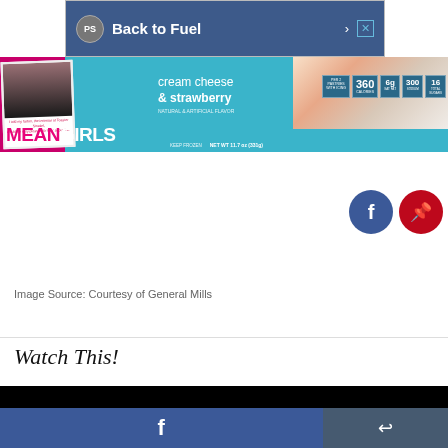[Figure (screenshot): Advertisement banner: PS logo, Back to Fuel text on dark plaid background]
[Figure (photo): Mean Girls themed Toaster Strudel product box: cream cheese & strawberry flavor, with person photo and nutrition info]
[Figure (screenshot): Facebook and Pinterest floating social share buttons]
Image Source: Courtesy of General Mills
Watch This!
[Figure (screenshot): Black video player bar]
[Figure (screenshot): Bottom bar with Facebook share button and share icon button]